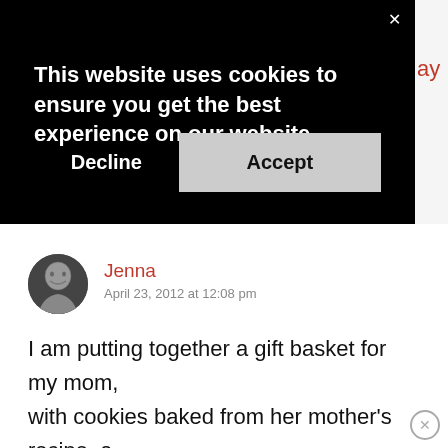[Figure (screenshot): Cookie consent banner overlay on a website. Dark black background with white text reading 'This website uses cookies to ensure you get the best experience on our website.' Two buttons: 'Decline' (white text) and 'Accept' (dark text on light grey background). A close X button in the top right corner.]
Jenna
April 23, 2012 at 12:08 pm
I am putting together a gift basket for my mom, with cookies baked from her mother's recipe, a Ball jar vase with a froggy lid, and some delightful soaps that I purchased off Etsy.